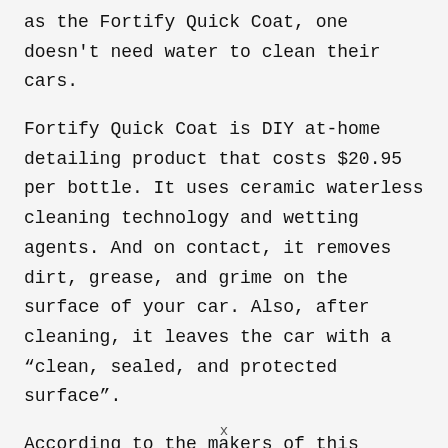as the Fortify Quick Coat, one doesn't need water to clean their cars.
Fortify Quick Coat is DIY at-home detailing product that costs $20.95 per bottle. It uses ceramic waterless cleaning technology and wetting agents. And on contact, it removes dirt, grease, and grime on the surface of your car. Also, after cleaning, it leaves the car with a “clean, sealed, and protected surface”.
According to the makers of this product, Fortify Quick Coat add a layered protective coating on your vehicle that can last for
x